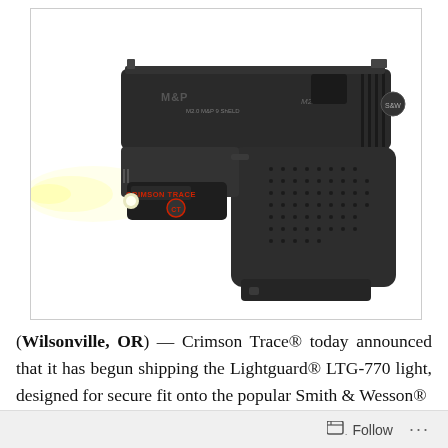[Figure (photo): A black Smith & Wesson M&P Shield pistol with a Crimson Trace Lightguard LTG-770 weapon light attached to the rail, emitting a white light beam to the left, photographed against a white background inside a thin gray border.]
(Wilsonville, OR) — Crimson Trace® today announced that it has begun shipping the Lightguard® LTG-770 light, designed for secure fit onto the popular Smith & Wesson®
Follow ···